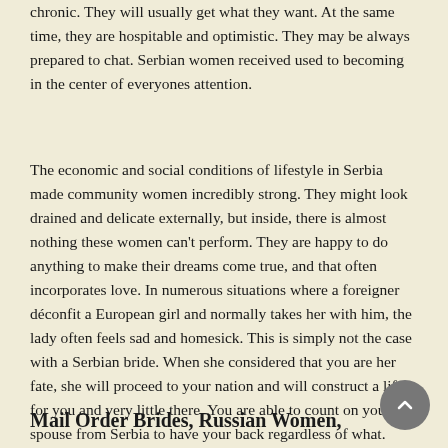chronic. They will usually get what they want. At the same time, they are hospitable and optimistic. They may be always prepared to chat. Serbian women received used to becoming in the center of everyones attention.
The economic and social conditions of lifestyle in Serbia made community women incredibly strong. They might look drained and delicate externally, but inside, there is almost nothing these women can't perform. They are happy to do anything to make their dreams come true, and that often incorporates love. In numerous situations where a foreigner déconfit a European girl and normally takes her with him, the lady often feels sad and homesick. This is simply not the case with a Serbian bride. When she considered that you are her fate, she will proceed to your nation and will construct a life for you and very little there. You are able to count on your spouse from Serbia to have your back regardless of what.
Mail Order Brides, Russian Women,